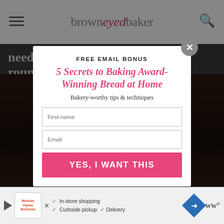browneyed baker
need an excuse to make it year-round.
[Figure (screenshot): Dark food photo background]
[Figure (infographic): Email signup modal popup with title FREE EMAIL BONUS, 5 Secrets to Baking Award-Winning Bread at Home, Bakery-worthy tips & techniques, First name input, Email input, YES I WANT THIS button, close button]
[Figure (infographic): Bottom advertisement bar with play button, Mexican Farms logo, In-store shopping, Curbside pickup, Delivery checkmarks, navigation icon, WW logo]